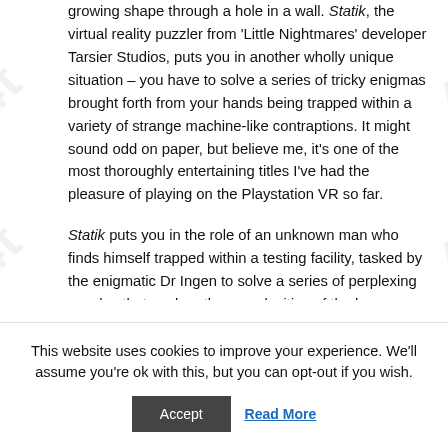growing shape through a hole in a wall. Statik, the virtual reality puzzler from 'Little Nightmares' developer Tarsier Studios, puts you in another wholly unique situation – you have to solve a series of tricky enigmas brought forth from your hands being trapped within a variety of strange machine-like contraptions. It might sound odd on paper, but believe me, it's one of the most thoroughly entertaining titles I've had the pleasure of playing on the Playstation VR so far.
Statik puts you in the role of an unknown man who finds himself trapped within a testing facility, tasked by the enigmatic Dr Ingen to solve a series of perplexing puzzles that explore the complexities of the human mind.
This website uses cookies to improve your experience. We'll assume you're ok with this, but you can opt-out if you wish.